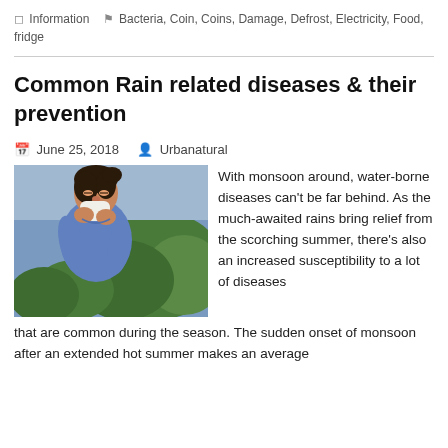Information   Bacteria, Coin, Coins, Damage, Defrost, Electricity, Food, fridge
Common Rain related diseases & their prevention
June 25, 2018   Urbanatural
[Figure (photo): Woman sneezing into a tissue outdoors with green bushes in background, wearing a blue shirt]
With monsoon around, water-borne diseases can't be far behind. As the much-awaited rains bring relief from the scorching summer, there's also an increased susceptibility to a lot of diseases that are common during the season. The sudden onset of monsoon after an extended hot summer makes an average